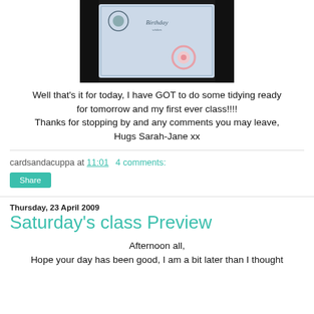[Figure (photo): A handmade birthday card with scalloped edges on dark background, showing 'Birthday Wishes' text and decorative floral elements]
Well that's it for today, I have GOT to do some tidying ready for tomorrow and my first ever class!!!!
Thanks for stopping by and any comments you may leave,
Hugs Sarah-Jane xx
cardsandacuppa at 11:01   4 comments:
Share
Thursday, 23 April 2009
Saturday's class Preview
Afternoon all,
Hope your day has been good, I am a bit later than I thought